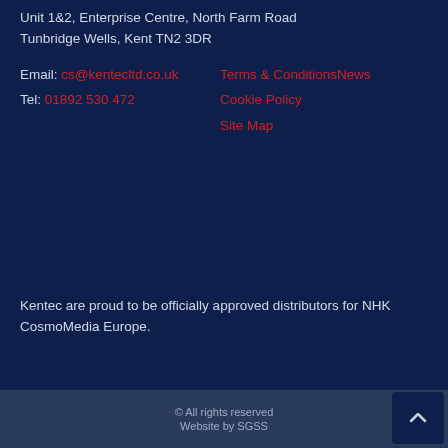Unit 1&2, Enterprise Centre, North Farm Road
Tunbridge Wells, Kent TN2 3DR
Email: cs@kentecltd.co.uk
Tel: 01892 530 472
Terms & ConditionsNews
Cookie Policy
Site Map
Kentec are proud to be officially approved distributors for NHK CosmoMedia Europe.
© All rights reserved
Website by SGSS